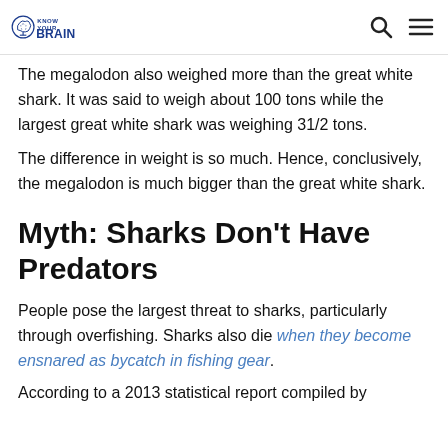Know Your Brain
The megalodon also weighed more than the great white shark. It was said to weigh about 100 tons while the largest great white shark was weighing 31/2 tons.
The difference in weight is so much. Hence, conclusively, the megalodon is much bigger than the great white shark.
Myth: Sharks Don't Have Predators
People pose the largest threat to sharks, particularly through overfishing. Sharks also die when they become ensnared as bycatch in fishing gear.
According to a 2013 statistical report compiled by